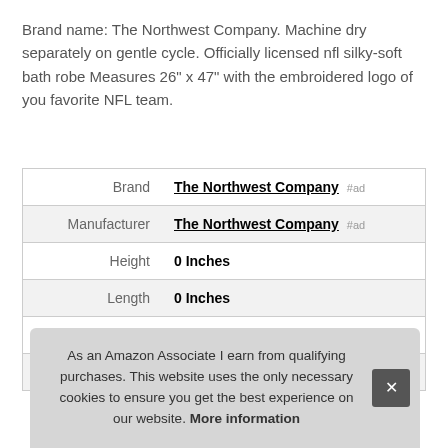Brand name: The Northwest Company. Machine dry separately on gentle cycle. Officially licensed nfl silky-soft bath robe Measures 26" x 47" with the embroidered logo of you favorite NFL team.
|  |  |
| --- | --- |
| Brand | The Northwest Company #ad |
| Manufacturer | The Northwest Company #ad |
| Height | 0 Inches |
| Length | 0 Inches |
| Weight | 1 Pounds |
| P |  |
As an Amazon Associate I earn from qualifying purchases. This website uses the only necessary cookies to ensure you get the best experience on our website. More information